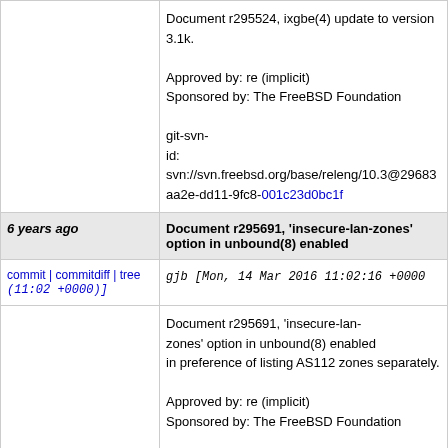Document r295524, ixgbe(4) update to version 3.1k.

Approved by: re (implicit)
Sponsored by: The FreeBSD Foundation

git-svn-id: svn://svn.freebsd.org/base/releng/10.3@29683 aa2e-dd11-9fc8-001c23d0bc1f
6 years ago   Document r295691, 'insecure-lan-zones' option in unbound(8) enabled
commit | commitdiff | tree   gjb [Mon, 14 Mar 2016 11:02:16 +0000 (11:02 +0000)]
Document r295691, 'insecure-lan-zones' option in unbound(8) enabled in preference of listing AS112 zones separately.

Approved by: re (implicit)
Sponsored by: The FreeBSD Foundation

git-svn-id: svn://svn.freebsd.org/base/releng/10.3@29683 aa2e-dd11-9fc8-001c23d0bc1f
6 years ago   Document r295690, unbound-control-setup